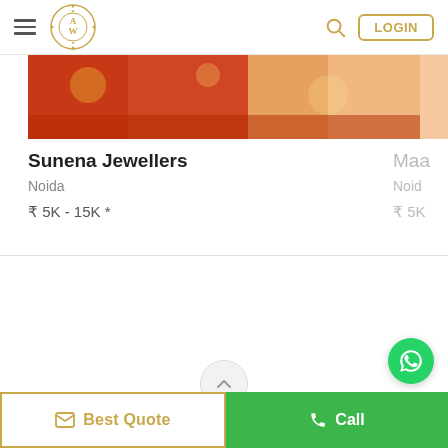Navigation bar with hamburger menu, logo, search icon, and LOGIN button
[Figure (photo): Partial view of women in colorful Indian bridal attire with jewelry]
Sunena Jewellers
Noida
₹ 5K - 15K *
Maa (partial, cropped)
Noid (partial, cropped)
₹ 5K (partial, cropped)
[Figure (logo): WhatsApp green circle icon]
Best Quote | Call